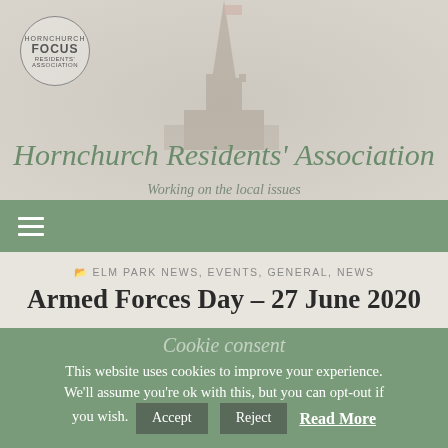[Figure (logo): Hornchurch Residents Association FOCUS circular logo stamp]
[Figure (photo): Faded background image of a church spire]
Hornchurch Residents' Association
Working on the local issues
☰ (hamburger menu icon, navigation bar)
ELM PARK NEWS, EVENTS, GENERAL, NEWS
Armed Forces Day – 27 June 2020
Cookie consent
This website uses cookies to improve your experience. We'll assume you're ok with this, but you can opt-out if you wish.
Accept   Reject   Read More